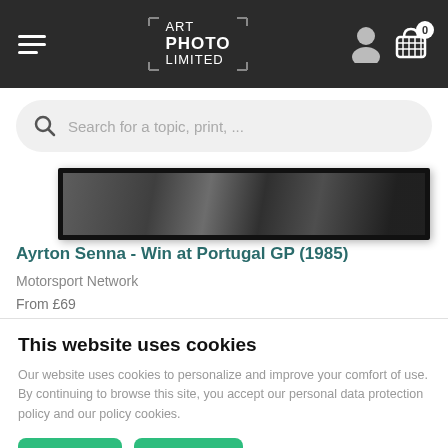[Figure (screenshot): Website header with dark background, hamburger menu icon on left, Art Photo Limited logo in center with bracket design, user icon and cart icon (showing 0 items) on right]
[Figure (screenshot): Search bar with magnifying glass icon and placeholder text 'Search for a topic, print, ...']
[Figure (photo): Partial black and white photograph of Ayrton Senna in a racing car, shown cropped in a black frame]
Ayrton Senna - Win at Portugal GP (1985)
Motorsport Network
From £69
This website uses cookies
Our website uses cookies to personalize and improve your comfort of use. By continuing to browse this site, you accept our personal data protection policy and our policy cookies.
I agree
I refuse
Our policy